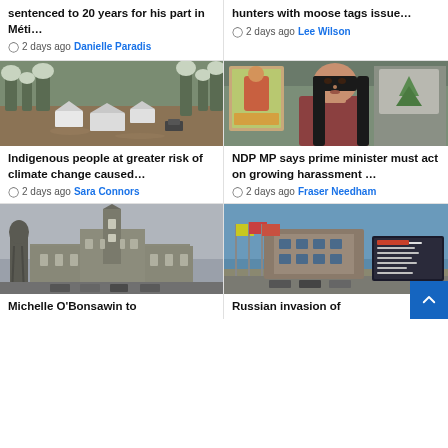sentenced to 20 years for his part in Méti...
2 days ago  Danielle Paradis
hunters with moose tags issue...
2 days ago  Lee Wilson
[Figure (photo): Aerial view of flooded landscape with snow-covered trees and white tent structures in brown floodwater]
Indigenous people at greater risk of climate change caused...
2 days ago  Sara Connors
[Figure (photo): Woman with long dark hair seated in front of a framed poster, video call screenshot]
NDP MP says prime minister must act on growing harassment ...
2 days ago  Fraser Needham
[Figure (photo): Parliament Hill in Ottawa with a statue in the foreground, overcast sky]
Michelle O'Bonsawin to
[Figure (photo): Government of Canada building exterior with flagpoles and a Canada sign]
Russian invasion of